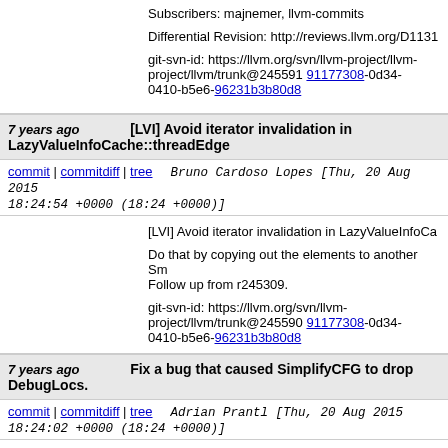Subscribers: majnemer, llvm-commits

Differential Revision: http://reviews.llvm.org/D1131

git-svn-id: https://llvm.org/svn/llvm-project/llvm/trunk@245591 91177308-0d34-0410-b5e6-96231b3b80d8
7 years ago   [LVI] Avoid iterator invalidation in LazyValueInfoCache::threadEdge
commit | commitdiff | tree   Bruno Cardoso Lopes [Thu, 20 Aug 2015 18:24:54 +0000 (18:24 +0000)]
[LVI] Avoid iterator invalidation in LazyValueInfoCa...

Do that by copying out the elements to another Sm... Follow up from r245309.

git-svn-id: https://llvm.org/svn/llvm-project/llvm/trunk@245590 91177308-0d34-0410-b5e6-96231b3b80d8
7 years ago   Fix a bug that caused SimplifyCFG to drop DebugLocs.
commit | commitdiff | tree   Adrian Prantl [Thu, 20 Aug 2015 18:24:02 +0000 (18:24 +0000)]